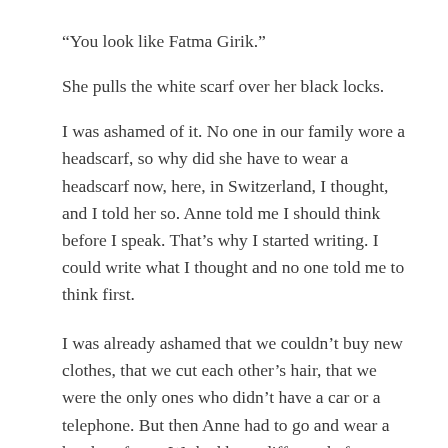“You look like Fatma Girik.”
She pulls the white scarf over her black locks.
I was ashamed of it. No one in our family wore a headscarf, so why did she have to wear a headscarf now, here, in Switzerland, I thought, and I told her so. Anne told me I should think before I speak. That’s why I started writing. I could write what I thought and no one told me to think first.
I was already ashamed that we couldn’t buy new clothes, that we cut each other’s hair, that we were the only ones who didn’t have a car or a telephone. But then Anne had to go and wear a headscarf, too. We had been different before; now we were “those others.”